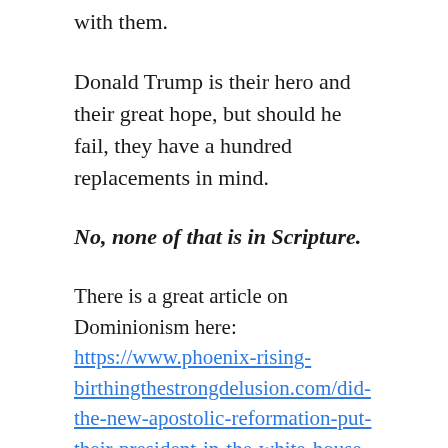with them.
Donald Trump is their hero and their great hope, but should he fail, they have a hundred replacements in mind.
No, none of that is in Scripture.
There is a great article on Dominionism here: https://www.phoenix-rising-birthingthestrongdelusion.com/did-the-new-apostolic-reformation-put-their-president-in-the-white-house
Please understand that this is the religion of the Antichrist. They speak of spreading